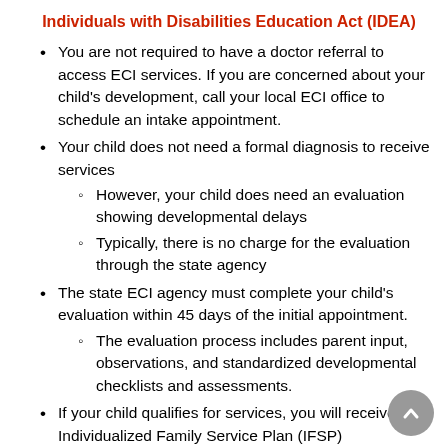Individuals with Disabilities Education Act (IDEA)
You are not required to have a doctor referral to access ECI services. If you are concerned about your child's development, call your local ECI office to schedule an intake appointment.
Your child does not need a formal diagnosis to receive services
However, your child does need an evaluation showing developmental delays
Typically, there is no charge for the evaluation through the state agency
The state ECI agency must complete your child's evaluation within 45 days of the initial appointment.
The evaluation process includes parent input, observations, and standardized developmental checklists and assessments.
If your child qualifies for services, you will receive an Individualized Family Service Plan (IFSP)